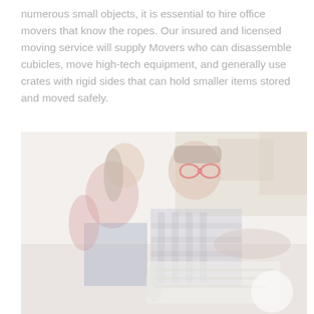numerous small objects, it is essential to hire office movers that know the ropes. Our insured and licensed moving service will supply Movers who can disassemble cubicles, move high-tech equipment, and generally use crates with rigid sides that can hold smaller items stored and moved safely.
[Figure (photo): A washed-out/faded photo of a smiling couple (woman in red top, man in plaid shirt) sitting on the floor looking at plans or documents, with moving boxes in the background. A red infinity-like symbol annotation appears near the man's head.]